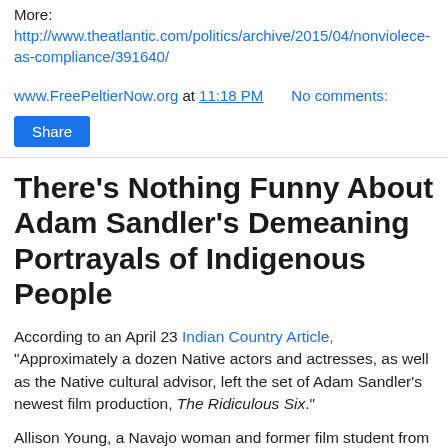More:
http://www.theatlantic.com/politics/archive/2015/04/nonviolence-as-compliance/391640/
www.FreePeltierNow.org at 11:18 PM    No comments:
Share
There's Nothing Funny About Adam Sandler's Demeaning Portrayals of Indigenous People
According to an April 23 Indian Country Article, "Approximately a dozen Native actors and actresses, as well as the Native cultural advisor, left the set of Adam Sandler's newest film production, The Ridiculous Six."
Allison Young, a Navajo woman and former film student from Dartmouth, protested the film's demeaning portrayals of Indigenous people. She talked with Indian Country about the